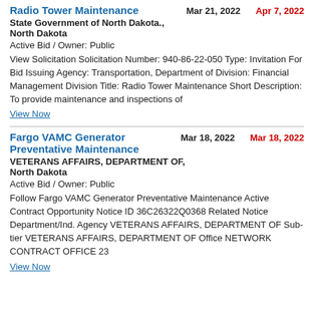Radio Tower Maintenance
Mar 21, 2022   Apr 7, 2022
State Government of North Dakota., North Dakota
Active Bid / Owner: Public
View Solicitation Solicitation Number: 940-86-22-050 Type: Invitation For Bid Issuing Agency: Transportation, Department of Division: Financial Management Division Title: Radio Tower Maintenance Short Description: To provide maintenance and inspections of
View Now
Fargo VAMC Generator Preventative Maintenance
Mar 18, 2022   Mar 18, 2022
VETERANS AFFAIRS, DEPARTMENT OF, North Dakota
Active Bid / Owner: Public
Follow Fargo VAMC Generator Preventative Maintenance Active Contract Opportunity Notice ID 36C26322Q0368 Related Notice Department/Ind. Agency VETERANS AFFAIRS, DEPARTMENT OF Sub-tier VETERANS AFFAIRS, DEPARTMENT OF Office NETWORK CONTRACT OFFICE 23
View Now